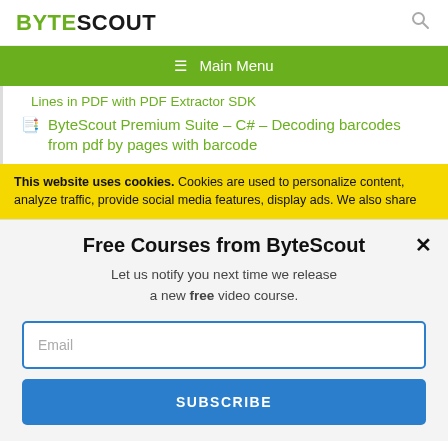BYTESCOUT [search icon]
≡ Main Menu
Lines in PDF with PDF Extractor SDK
ByteScout Premium Suite – C# – Decoding barcodes from pdf by pages with barcode
This website uses cookies. Cookies are used to personalize content, analyze traffic, provide social media features, display ads. We also share
Free Courses from ByteScout
Let us notify you next time we release a new free video course.
Email
SUBSCRIBE